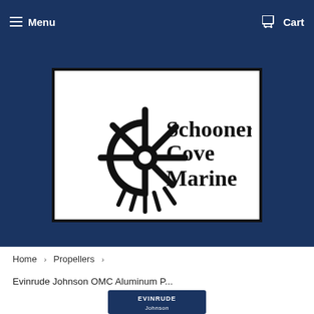Menu   Cart
[Figure (logo): Schooner Cove Marine logo — ship wheel silhouette with text 'Schooner Cove Marine' on white background with black border]
Home  >  Propellers  >
Evinrude Johnson OMC Aluminum P...
[Figure (photo): Evinrude Johnson product packaging visible at bottom of page]